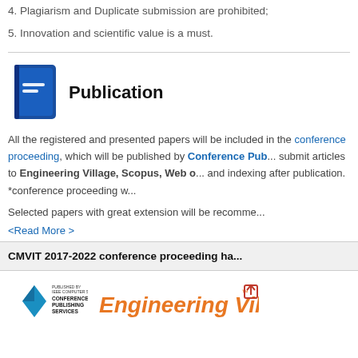4. Plagiarism and Duplicate submission are prohibited;
5. Innovation and scientific value is a must.
Publication
All the registered and presented papers will be included in the conference proceeding, which will be published by Conference Publishing Services. They will submit articles to Engineering Village, Scopus, Web of Science for review and indexing after publication. *conference proceeding w...
Selected papers with great extension will be recomme...
<Read More >
CMVIT 2017-2022 conference proceeding ha...
[Figure (logo): IEEE Conference Publishing Services logo and Engineering Village logo]